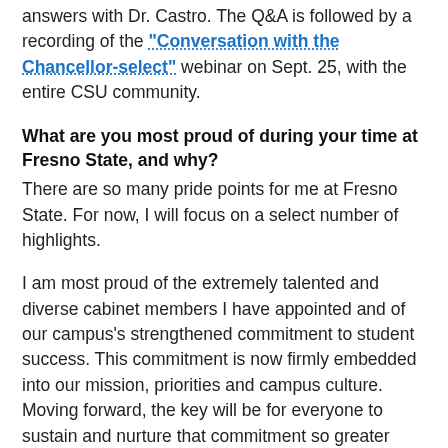answers with Dr. Castro. The Q&A is followed by a recording of the "Conversation with the Chancellor-select" webinar on Sept. 25, with the entire CSU community.
What are you most proud of during your time at Fresno State, and why?
There are so many pride points for me at Fresno State. For now, I will focus on a select number of highlights.
I am most proud of the extremely talented and diverse cabinet members I have appointed and of our campus's strengthened commitment to student success. This commitment is now firmly embedded into our mission, priorities and campus culture. Moving forward, the key will be for everyone to sustain and nurture that commitment so greater progress can be made in future years. While we